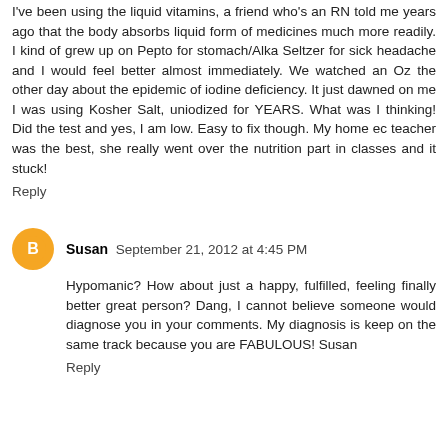I've been using the liquid vitamins, a friend who's an RN told me years ago that the body absorbs liquid form of medicines much more readily. I kind of grew up on Pepto for stomach/Alka Seltzer for sick headache and I would feel better almost immediately. We watched an Oz the other day about the epidemic of iodine deficiency. It just dawned on me I was using Kosher Salt, uniodized for YEARS. What was I thinking! Did the test and yes, I am low. Easy to fix though. My home ec teacher was the best, she really went over the nutrition part in classes and it stuck!
Reply
Susan  September 21, 2012 at 4:45 PM
Hypomanic? How about just a happy, fulfilled, feeling finally better great person? Dang, I cannot believe someone would diagnose you in your comments. My diagnosis is keep on the same track because you are FABULOUS! Susan
Reply